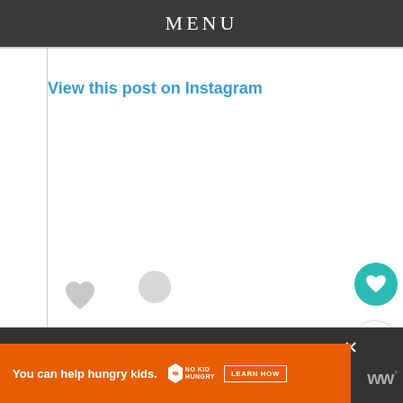MENU
View this post on Instagram
[Figure (screenshot): Instagram embedded post skeleton loading state with gray heart icon, gray circle, and gray loading bars]
[Figure (infographic): Teal circular heart button and white circular share button on right side]
[Figure (infographic): What's Next panel with thumbnail and text: Megan Fox Wears Nake...]
[Figure (infographic): Advertisement banner: You can help hungry kids. NO KID HUNGRY LEARN HOW. Close button and WW logo.]